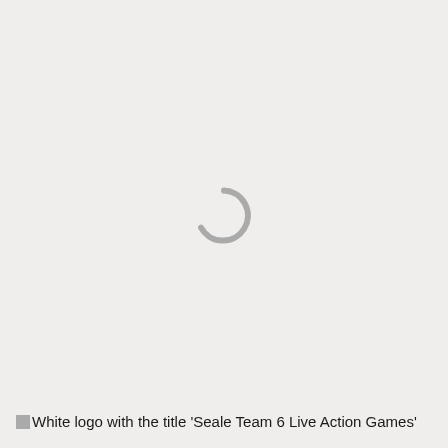[Figure (other): Loading spinner graphic centered on the page — a gray partial circle (C-shape) indicating content is loading]
[White logo with the title 'Seale Team 6 Live Action Games'